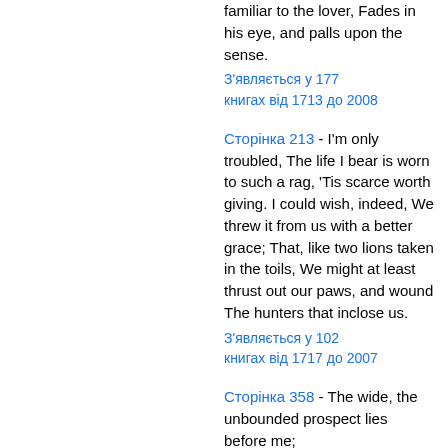familiar to the lover, Fades in his eye, and palls upon the sense.
З'являється у 177 книгах від 1713 до 2008
Сторінка 213 - I'm only troubled, The life I bear is worn to such a rag, 'Tis scarce worth giving. I could wish, indeed, We threw it from us with a better grace; That, like two lions taken in the toils, We might at least thrust out our paws, and wound The hunters that inclose us.
З'являється у 102 книгах від 1717 до 2007
Сторінка 358 - The wide, the unbounded prospect lies before me;